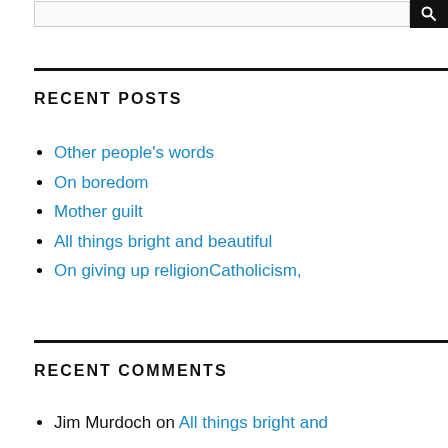RECENT POSTS
Other people's words
On boredom
Mother guilt
All things bright and beautiful
On giving up religionCatholicism,
RECENT COMMENTS
Jim Murdoch on All things bright and